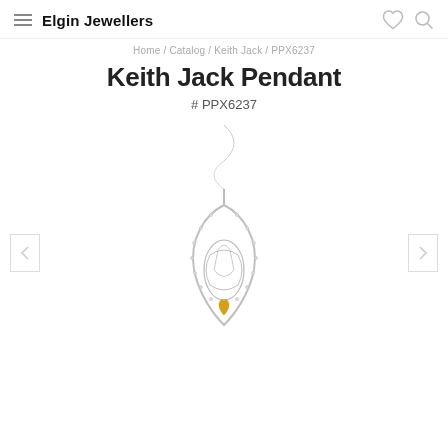Elgin Jewellers
Home / Catalog / Keith Jack / PPX6237
Keith Jack Pendant
# PPX6237
[Figure (photo): A silver and gold Keith Jack pendant with a teardrop/leaf shape, diamond accents around the border, an interlaced Celtic knot motif inside, and a gold heart accent at the bottom. The pendant hangs on a fine silver chain.]